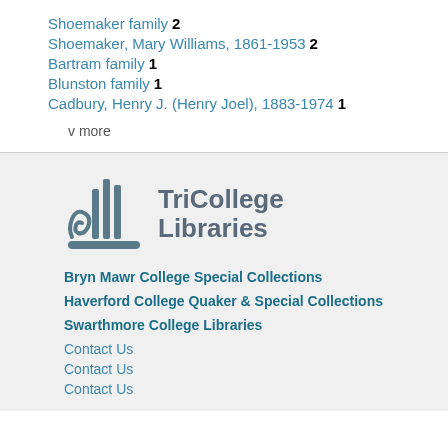Shoemaker family 2
Shoemaker, Mary Williams, 1861-1953 2
Bartram family 1
Blunston family 1
Cadbury, Henry J. (Henry Joel), 1883-1974 1
v more
[Figure (logo): TriCollege Libraries logo with stylized columns icon and text]
Bryn Mawr College Special Collections
Haverford College Quaker & Special Collections
Swarthmore College Libraries
Contact Us
Contact Us
Contact Us